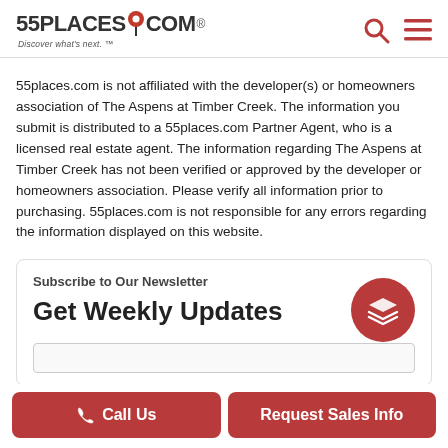55PLACES.COM - Discover what's next.
55places.com is not affiliated with the developer(s) or homeowners association of The Aspens at Timber Creek. The information you submit is distributed to a 55places.com Partner Agent, who is a licensed real estate agent. The information regarding The Aspens at Timber Creek has not been verified or approved by the developer or homeowners association. Please verify all information prior to purchasing. 55places.com is not responsible for any errors regarding the information displayed on this website.
Subscribe to Our Newsletter
Get Weekly Updates